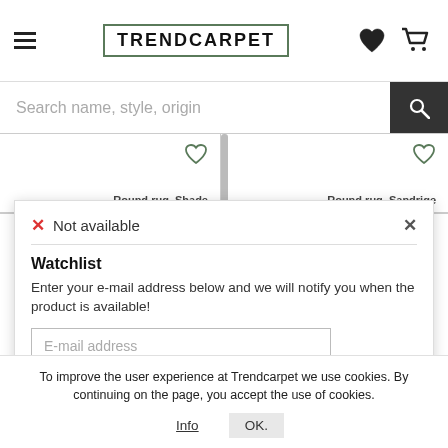TRENDCARPET
Search name, style, origin
Round rug   Shade   Round rug   Sandrige
✕ Not available
Watchlist
Enter your e-mail address below and we will notify you when the product is available!
E-mail address
ADD TO WATCHLIST
To improve the user experience at Trendcarpet we use cookies. By continuing on the page, you accept the use of cookies.
Info   OK.